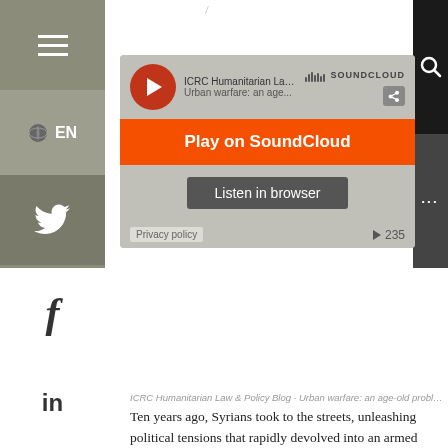[Figure (screenshot): SoundCloud embedded player widget showing 'ICRC Humanitarian Law & P...' track 'Urban warfare: an age...' with orange Play on SoundCloud button and grey Listen in browser button, play count 235, Privacy policy link]
ICRC Humanitarian Law & Policy Blog · Urban warfare: an age-old proble...
Ten years ago, Syrians took to the streets, unleashing political tensions that rapidly devolved into an armed conflict that has devastated the country and its people ever since. The world watched with horror as beloved and near mythical cities such as Damascus, Aleppo, Raqqa, Palmyra and Homs were destroyed by intense urban battles, their inhabitants killed, maimed, and displaced. War in these cities has left deep scars on the social fabric of affected communities and robbed entire generations of their youth.